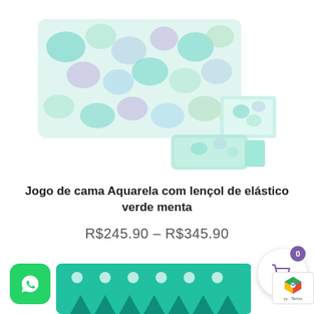[Figure (photo): Product photo of a bed sheet set (Aquarela) with elastic fitted sheet in mint green, showing two pillowcases with colorful watercolor bubble pattern and a folded green sheet.]
Jogo de cama Aquarela com lençol de elástico verde menta
R$245.90 – R$345.90
[Figure (photo): Partial view of another product at the bottom - a teal/green pillow with white dot and triangle pattern.]